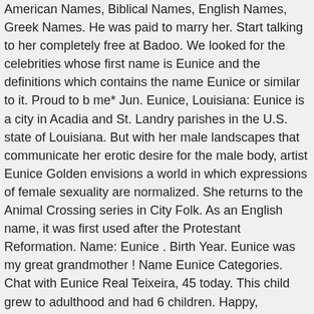American Names, Biblical Names, English Names, Greek Names. He was paid to marry her. Start talking to her completely free at Badoo. We looked for the celebrities whose first name is Eunice and the definitions which contains the name Eunice or similar to it. Proud to b me* Jun. Eunice, Louisiana: Eunice is a city in Acadia and St. Landry parishes in the U.S. state of Louisiana. But with her male landscapes that communicate her erotic desire for the male body, artist Eunice Golden envisions a world in which expressions of female sexuality are normalized. She returns to the Animal Crossing series in City Folk. As an English name, it was first used after the Protestant Reformation. Name: Eunice . Birth Year. Eunice was my great grandmother ! Name Eunice Categories. Chat with Eunice Real Teixeira, 45 today. This child grew to adulthood and had 6 children. Happy, stanning. She remains the only UK contender to ever become a Gladiator. Genealogy profile for Eunice Pearl Eunice Pearl (Kimball) (1746 - 1830) - Genealogy Genealogy for Eunice Pearl (Kimball) (1746 - 1830) family tree on Geni, with over 200 million profiles of ... last name in North America. I know the name is not